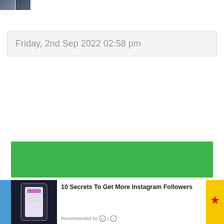[Figure (photo): Small thumbnail image of a dark cityscape or crowd, two tiles side by side]
Friday, 2nd Sep 2022 02:58 pm
[Figure (photo): Solid green banner/advertisement rectangle]
[Figure (screenshot): Close button (circled X) for advertisement]
[Figure (infographic): Advertisement bar at bottom: thumbnail of phone with Instagram app, text '10 Secrets To Get More Instagram Followers', Recommended by logo, Shell logo on right]